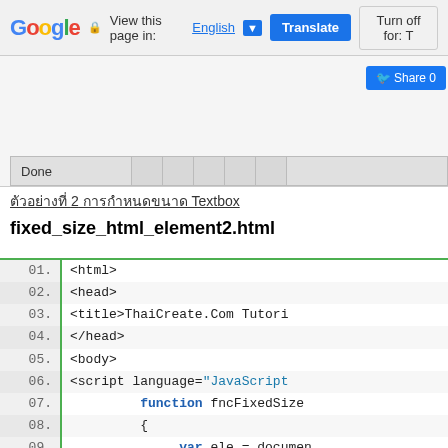[Figure (screenshot): Google Translate browser toolbar showing 'View this page in: English [dropdown] Translate | Turn off for: T' with lock icon]
[Figure (screenshot): Browser window partial screenshot showing a Share button and a Done status bar with grid cells]
ตัวอย่างที่ 2 การกำหนดขนาด Textbox
fixed_size_html_element2.html
[Figure (screenshot): Code editor showing HTML/JavaScript source code lines 01-19 with line numbers and syntax highlighting]